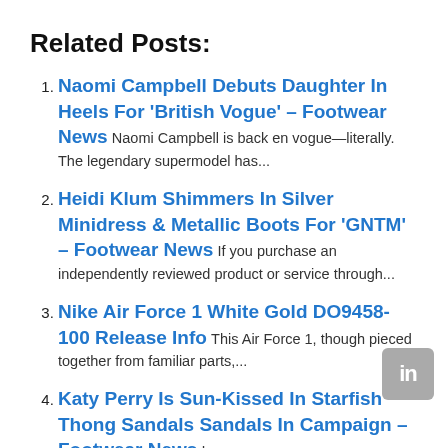Related Posts:
Naomi Campbell Debuts Daughter In Heels For ‘British Vogue’ – Footwear News Naomi Campbell is back en vogue—literally. The legendary supermodel has...
Heidi Klum Shimmers In Silver Minidress & Metallic Boots For ‘GNTM’ – Footwear News If you purchase an independently reviewed product or service through...
Nike Air Force 1 White Gold DO9458-100 Release Info This Air Force 1, though pieced together from familiar parts,...
Katy Perry Is Sun-Kissed In Starfish Thong Sandals Sandals In Campaign – Footwear News In a new